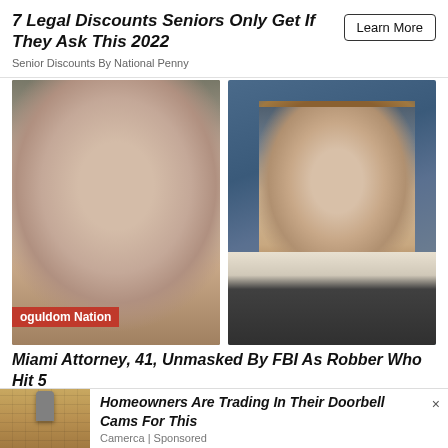7 Legal Discounts Seniors Only Get If They Ask This 2022
Senior Discounts By National Penny
[Figure (photo): Two side-by-side photos: left is a mugshot-style photo of a dark-haired man with stubble, with a red 'oguldom Nation' label; right is a professional headshot of a smiling man in a suit with a blue background]
Miami Attorney, 41, Unmasked By FBI As Robber Who Hit 5
[Figure (photo): Small photo of an outdoor wall-mounted lamp/camera on a stone wall]
Homeowners Are Trading In Their Doorbell Cams For This
Camerca | Sponsored